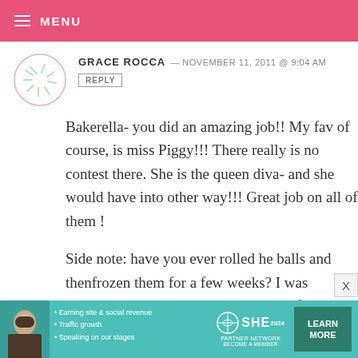MENU
GRACE ROCCA — NOVEMBER 11, 2011 @ 9:04 AM
REPLY
Bakerella- you did an amazing job!! My fav of course, is miss Piggy!!! There really is no contest there. She is the queen diva- and she would have into other way!!! Great job on all of them !

Side note: have you ever rolled he balls and thenfrozen them for a few weeks? I was planning on rolling the pops and then freezing them, but defrosting them before dipping them?
[Figure (infographic): SHE Partner Network advertisement banner with photo of woman, bullet points about Earning site & social revenue, Traffic growth, Speaking on our stages, SHE logo, and LEARN MORE button]